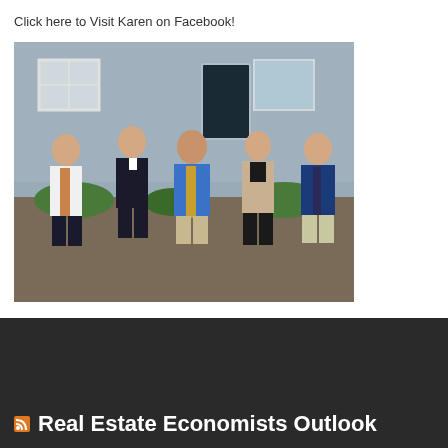Click here to Visit Karen on Facebook!
[Figure (photo): Group photo of five people (four men and one woman) standing in front of a house with a blue-gray exterior. The man on the left wears a white shirt and orange tie, next is a man in a dark vest and bow tie, center is a man in a blue shirt with a gold tie, next is a woman in a beige blazer, and on the right is a man in a dark blue shirt with a dark tie.]
Real Estate Economists Outlook